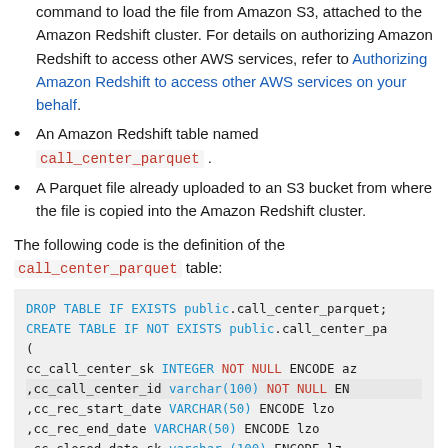command to load the file from Amazon S3, attached to the Amazon Redshift cluster. For details on authorizing Amazon Redshift to access other AWS services, refer to Authorizing Amazon Redshift to access other AWS services on your behalf.
An Amazon Redshift table named call_center_parquet .
A Parquet file already uploaded to an S3 bucket from where the file is copied into the Amazon Redshift cluster.
The following code is the definition of the call_center_parquet table:
DROP TABLE IF EXISTS public.call_center_parquet;
CREATE TABLE IF NOT EXISTS public.call_center_pa
(
    cc_call_center_sk INTEGER NOT NULL ENCODE az
    ,cc_call_center_id varchar(100) NOT NULL  EN
    ,cc_rec_start_date VARCHAR(50)    ENCODE lzo
    ,cc_rec_end_date VARCHAR(50)    ENCODE lzo
    ,cc_closed_date_sk varchar (100)    ENCODE lz